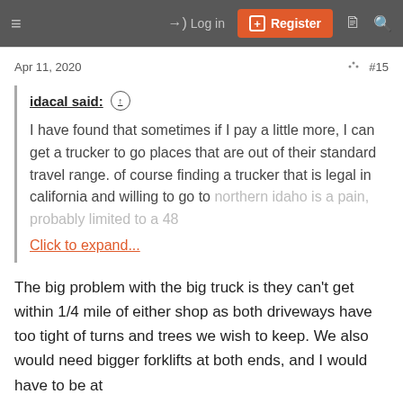Log in  Register
Apr 11, 2020  #15
idacal said: ↑

I have found that sometimes if I pay a little more, I can get a trucker to go places that are out of their standard travel range. of course finding a trucker that is legal in california and willing to go to northern idaho is a pain, probably limited to a 48
Click to expand...
The big problem with the big truck is they can't get within 1/4 mile of either shop as both driveways have too tight of turns and trees we wish to keep. We also would need bigger forklifts at both ends, and I would have to be at